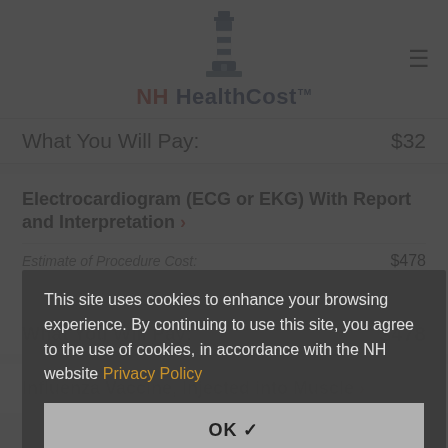[Figure (logo): NH HealthCost lighthouse logo with text]
What You Will Pay: $32
Electrocardiogram (ECG or EKG) With Report and Interpretation >
|  |  |
| --- | --- |
| Estimate of Procedure Cost: | $478 |
| Your Deductible: | N/A |
| What You Will Pay: | $478 |
Influenza Vaccine, Injected into Muscle >
This site uses cookies to enhance your browsing experience. By continuing to use this site, you agree to the use of cookies, in accordance with the NH website Privacy Policy
OK ✓